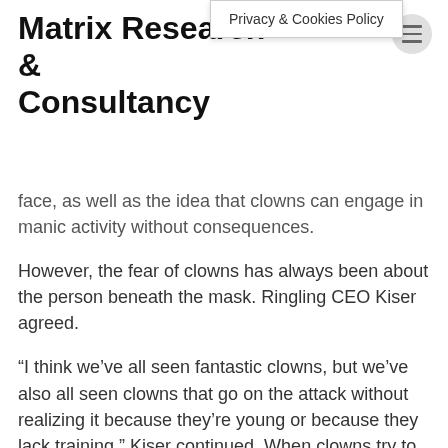Privacy & Cookies Policy
Matrix Research & Consultancy
face, as well as the idea that clowns can engage in manic activity without consequences.
However, the fear of clowns has always been about the person beneath the mask. Ringling CEO Kiser agreed.
“I think we’ve all seen fantastic clowns, but we’ve also all seen clowns that go on the attack without realizing it because they’re young or because they lack training,” Kiser continued. When clowns try to make someone laugh, they can become extremely aggressive.
“We highlight the need of being able to judge other people and respect their space. He said that